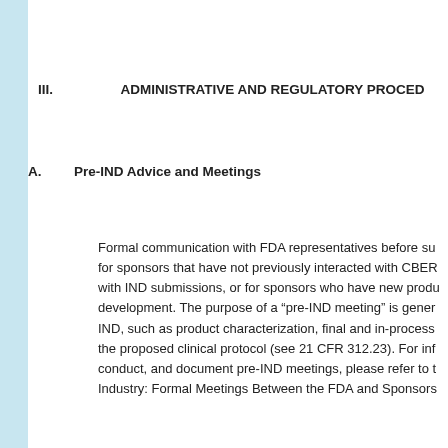III.        ADMINISTRATIVE AND REGULATORY PROCED
A.          Pre-IND Advice and Meetings
Formal communication with FDA representatives before su for sponsors that have not previously interacted with CBER with IND submissions, or for sponsors who have new produ development. The purpose of a “pre-IND meeting” is gener IND, such as product characterization, final and in-process the proposed clinical protocol (see 21 CFR 312.23). For inf conduct, and document pre-IND meetings, please refer to t Industry: Formal Meetings Between the FDA and Sponsors